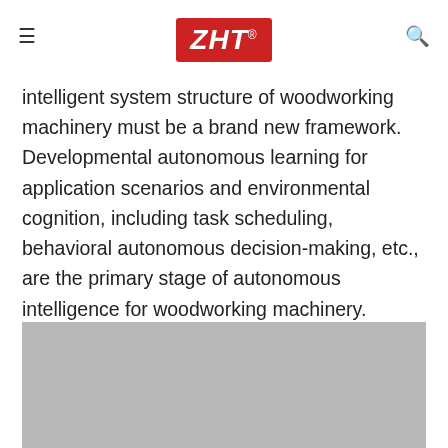ZHT®
intelligent system structure of woodworking machinery must be a brand new framework. Developmental autonomous learning for application scenarios and environmental cognition, including task scheduling, behavioral autonomous decision-making, etc., are the primary stage of autonomous intelligence for woodworking machinery.
[Figure (photo): Gray placeholder image area, partially visible at bottom of page]